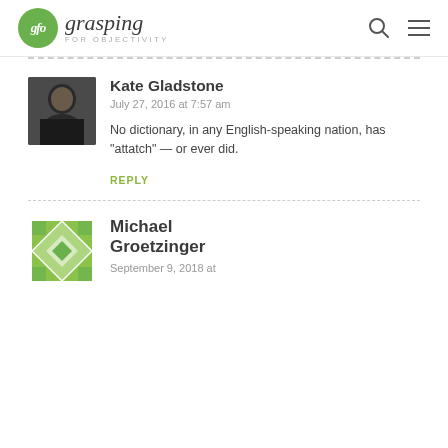gfo grasping FOR OBJECTIVITY
Kate Gladstone
July 27, 2016 at 7:57 am
No dictionary, in any English-speaking nation, has "attatch" — or ever did.
REPLY
Michael Groetzinger
September 9, 2018 at